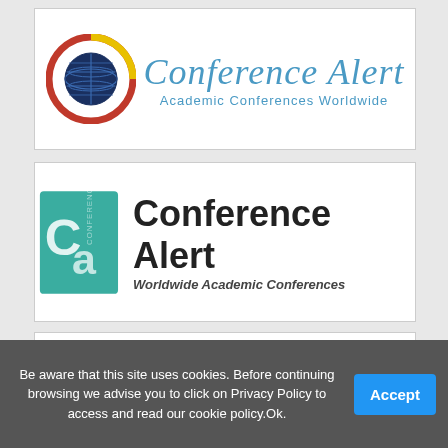[Figure (logo): Conference Alert logo — circular globe icon with red/yellow swirl, teal text 'Conference Alert', subtitle 'Academic Conferences Worldwide']
[Figure (logo): Conference Alert logo variant 2 — teal square icon with 'Ca' letters, bold black text 'Conference Alert', italic subtitle 'Worldwide Academic Conferences']
[Figure (logo): Conferencealert.in logo — red/blue interlinked 'Ca' circular emblem, dark blue text 'Conferencealert.in' with red '.in']
[Figure (logo): Empty white box (blank logo placeholder)]
Be aware that this site uses cookies. Before continuing browsing we advise you to click on Privacy Policy to access and read our cookie policy.Ok.